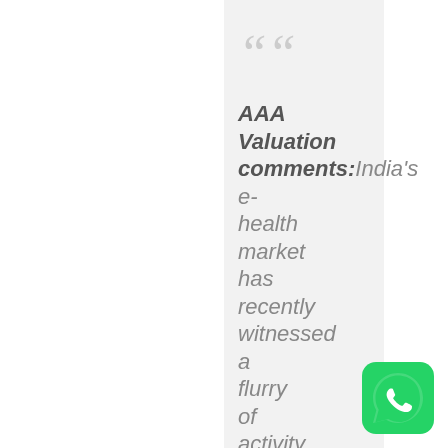AAA Valuation comments: India's e-health market has recently witnessed a flurry of activity
[Figure (logo): WhatsApp logo icon, green rounded square with white phone handset symbol]